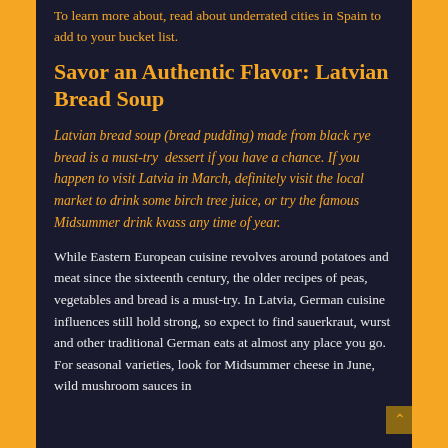To learn more about, read about underrated cities in Spain to add to your bucket list.
Savor an Authentic Flavor: Latvian Bread Soup
Latvian bread soup (bread pudding) made from black rye bread is a must-try dessert if you have a chance. If you happen to visit Latvia in March, definitely visit the local market to drink some birch tree juice, or try the famous Midsummer drink kvass any time of year.
While Eastern European cuisine revolves around potatoes and meat since the sixteenth century, the older recipes of peas, vegetables and bread is a must-try. In Latvia, German cuisine influences still hold strong, so expect to find sauerkraut, wurst and other traditional German eats at almost any place you go. For seasonal varieties, look for Midsummer cheese in June, wild mushroom sauces in